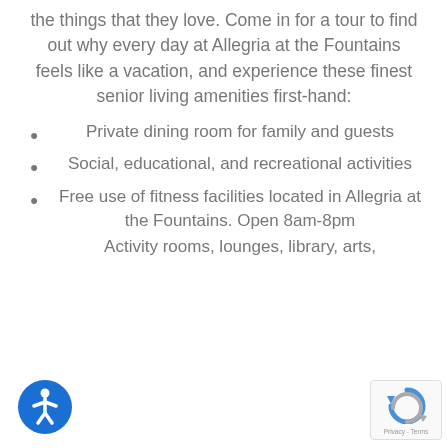the things that they love. Come in for a tour to find out why every day at Allegria at the Fountains feels like a vacation, and experience these finest senior living amenities first-hand:
Private dining room for family and guests
Social, educational, and recreational activities
Free use of fitness facilities located in Allegria at the Fountains. Open 8am-8pm
Activity rooms, lounges, library, arts,